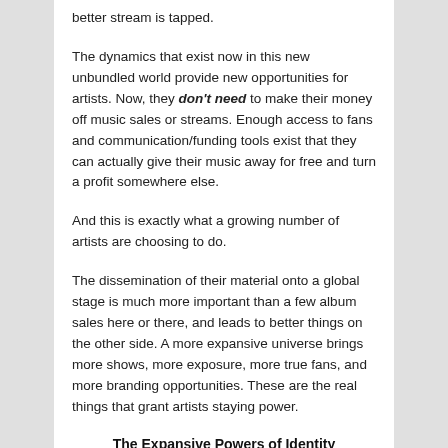better stream is tapped.
The dynamics that exist now in this new unbundled world provide new opportunities for artists. Now, they don't need to make their money off music sales or streams. Enough access to fans and communication/funding tools exist that they can actually give their music away for free and turn a profit somewhere else.
And this is exactly what a growing number of artists are choosing to do.
The dissemination of their material onto a global stage is much more important than a few album sales here or there, and leads to better things on the other side. A more expansive universe brings more shows, more exposure, more true fans, and more branding opportunities. These are the real things that grant artists staying power.
The Expansive Powers of Identity